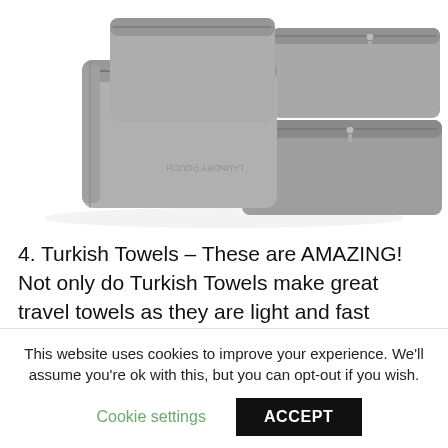[Figure (photo): Product photo of a set of grey fabric travel packing cubes and a laundry pouch on a white background]
4. Turkish Towels – These are AMAZING! Not only do Turkish Towels make great travel towels as they are light and fast drying, they also double as throws, scarves, & wraps. You can order them from lots of places but we like Teema.co as many of their products are
This website uses cookies to improve your experience. We'll assume you're ok with this, but you can opt-out if you wish.
Cookie settings   ACCEPT